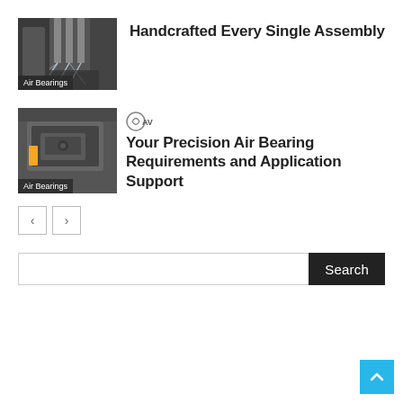[Figure (photo): CNC machining or drilling machine with coolant spray, labeled 'Air Bearings']
Handcrafted Every Single Assembly
[Figure (photo): Precision air bearing component with orange highlight, labeled 'Air Bearings', with AV logo]
Your Precision Air Bearing Requirements and Application Support